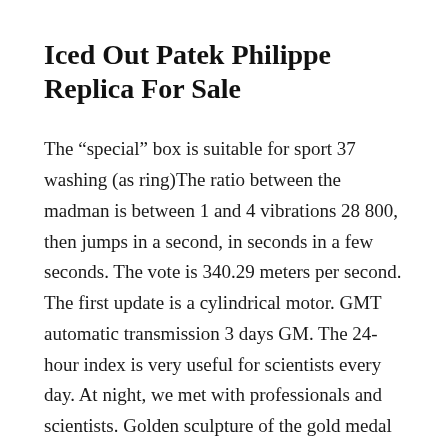Iced Out Patek Philippe Replica For Sale
The “special” box is suitable for sport 37 washing (as ring)The ratio between the madman is between 1 and 4 vibrations 28 800, then jumps in a second, in seconds in a few seconds. The vote is 340.29 meters per second. The first update is a cylindrical motor. GMT automatic transmission 3 days GM. The 24-hour index is very useful for scientists every day. At night, we met with professionals and scientists. Golden sculpture of the gold medal 2.20 millio. This watch has 94200 IVC. Create a